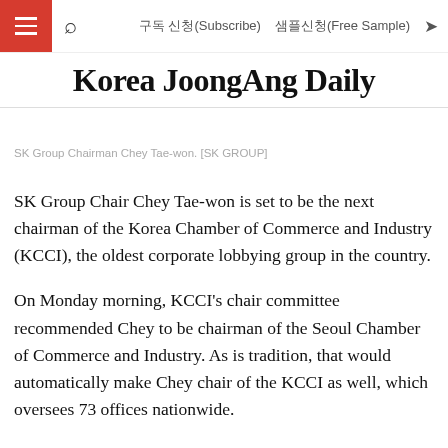구독 신청(Subscribe)  샘플신청(Free Sample)
Korea JoongAng Daily
SK Group Chairman Chey Tae-won. [SK GROUP]
SK Group Chair Chey Tae-won is set to be the next chairman of the Korea Chamber of Commerce and Industry (KCCI), the oldest corporate lobbying group in the country.
On Monday morning, KCCI's chair committee recommended Chey to be chairman of the Seoul Chamber of Commerce and Industry. As is tradition, that would automatically make Chey chair of the KCCI as well, which oversees 73 offices nationwide.
The 13-member KCCI chair committee approved Chey's nomination as the sole candidate.